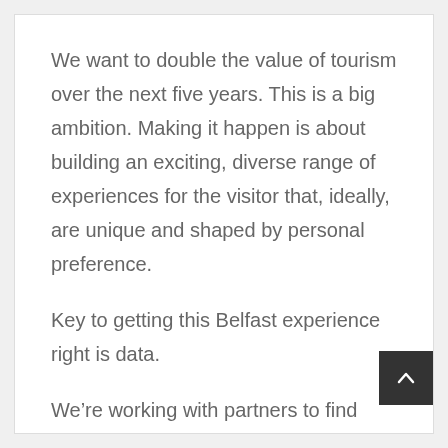We want to double the value of tourism over the next five years. This is a big ambition. Making it happen is about building an exciting, diverse range of experiences for the visitor that, ideally, are unique and shaped by personal preference.
Key to getting this Belfast experience right is data.
We're working with partners to find